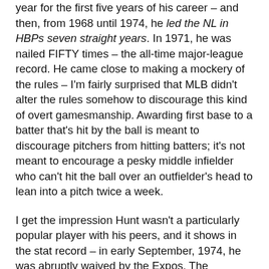year for the first five years of his career – and then, from 1968 until 1974, he led the NL in HBPs seven straight years. In 1971, he was nailed FIFTY times – the all-time major-league record. He came close to making a mockery of the rules – I'm fairly surprised that MLB didn't alter the rules somehow to discourage this kind of overt gamesmanship. Awarding first base to a batter that's hit by the ball is meant to discourage pitchers from hitting batters; it's not meant to encourage a pesky middle infielder who can't hit the ball over an outfielder's head to lean into a pitch twice a week.
I get the impression Hunt wasn't a particularly popular player with his peers, and it shows in the stat record – in early September, 1974, he was abruptly waived by the Expos. The Cardinals claimed him, but he never played for St. Louis, and he was released the following March, still 34 years old.
Anyway, the reason for the digression is this: Hunt finished his career with 243 HBPs, ranking sixth all-time. The player directly above him on that list? Jason Kendall, with 254. It all comes back around.
(Kendall isn't even contributing in this regard – he only has 6